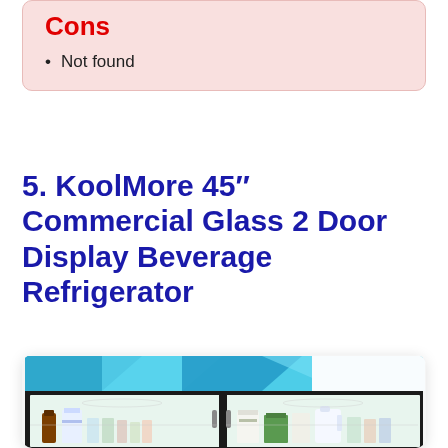Cons
Not found
5. KoolMore 45″ Commercial Glass 2 Door Display Beverage Refrigerator
[Figure (photo): KoolMore 45 inch commercial glass 2 door display beverage refrigerator showing interior shelves stocked with beverages and dairy products]